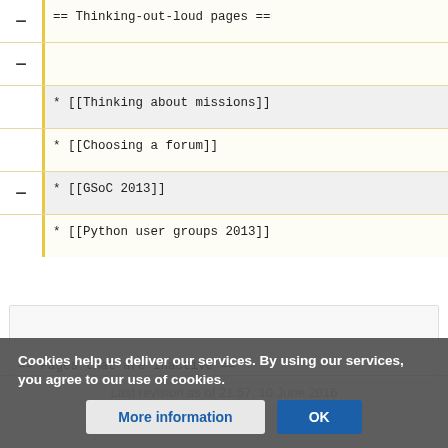== Thinking-out-loud pages ==
* [[Thinking about missions]]
* [[Choosing a forum]]
* [[GSoC 2013]]
* [[Python user groups 2013]]
== Pages that are inactive ==
Last revision as of 21:57, 10 June 2016
Cookies help us deliver our services. By using our services, you agree to our use of cookies.